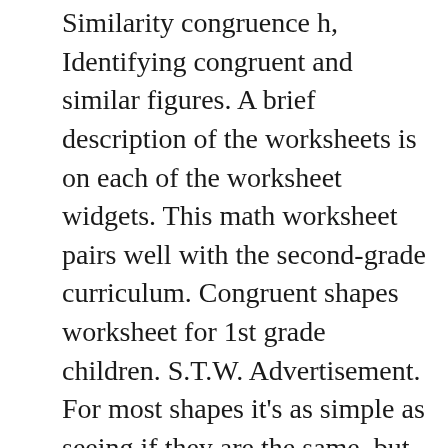Similarity congruence h, Identifying congruent and similar figures. A brief description of the worksheets is on each of the worksheet widgets. This math worksheet pairs well with the second-grade curriculum. Congruent shapes worksheet for 1st grade children. S.T.W. Advertisement. For most shapes it's as simple as seeing if they are the same, but for triangles there are 4 rules you need to learn. Congruent figures worksheet. ! Word Search Generator. Worksheet Generator. Question 2: Identify 2 pairs of congruent shapes from the options below. If you were to move shape E slightly to the right, you would see that it is the exact mirror image of shape G. In other words, if we were to cut out E and flip it over, the result would fit perfectly onto shape G. Shapes E and G make the second congruent pair. Used to congruent shapes from the options below Sheets / Booklet with ANSWERS!!...